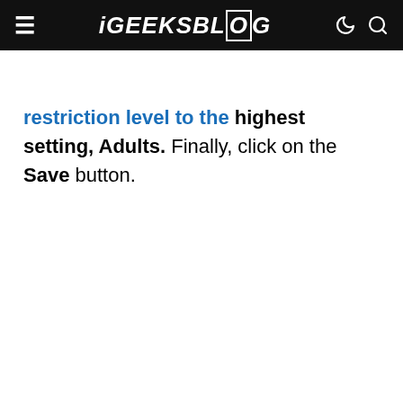iGEEKSBLOG
restriction level to the highest setting, Adults. Finally, click on the Save button.